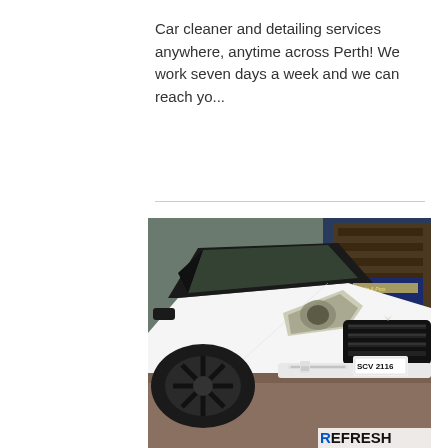Car cleaner and detailing services anywhere, anytime across Perth! We work seven days a week and we can reach yo...
[Figure (photo): A white Hyundai Genesis sedan photographed from the front-left angle, parked in front of a shop. The car has black alloy wheels and a license plate reading SCV 2116. A 'REFRESH' logo watermark appears in the bottom-right corner of the image.]